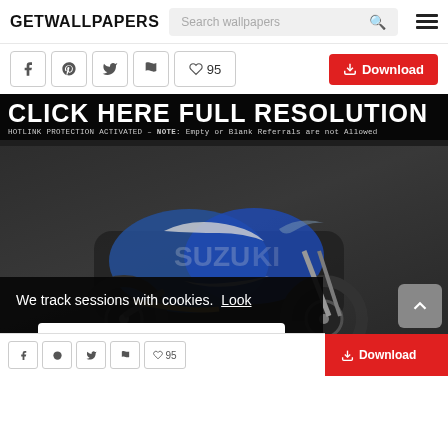GETWALLPAPERS  Search wallpapers
♥ 95  Download
[Figure (screenshot): Suzuki GSX-R motorcycle wallpaper on a dark background with 'CLICK HERE FULL RESOLUTION' overlay text and hotlink protection notice. Cookie consent banner overlays the bottom left of the image with text 'We track sessions with cookies. Look' and an 'Ok' button.]